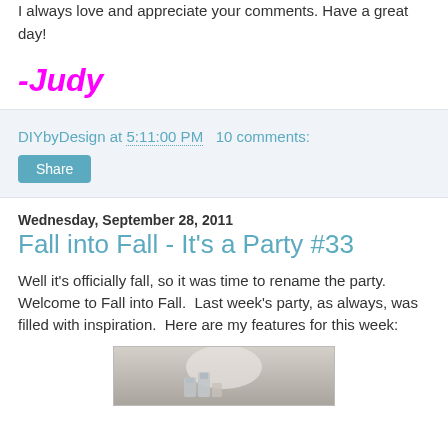I always love and appreciate your comments.  Have a great day!
-Judy
DIYbyDesign at 5:11:00 PM   10 comments:
Share
Wednesday, September 28, 2011
Fall into Fall - It's a Party #33
Well it's officially fall, so it was time to rename the party.  Welcome to Fall into Fall.  Last week's party, as always, was filled with inspiration.  Here are my features for this week:
[Figure (photo): A photo showing a white decorative item, partially visible at the bottom of the page]